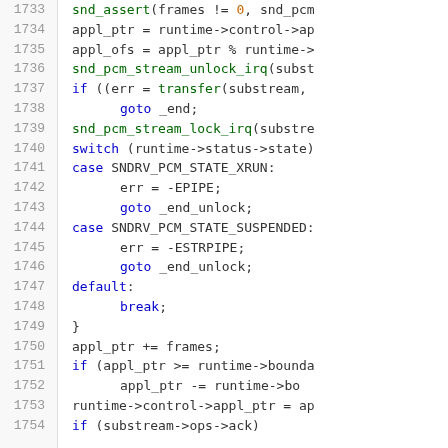[Figure (screenshot): Source code listing lines 1733-1754, syntax-highlighted C code for PCM stream handling with line numbers on the left.]